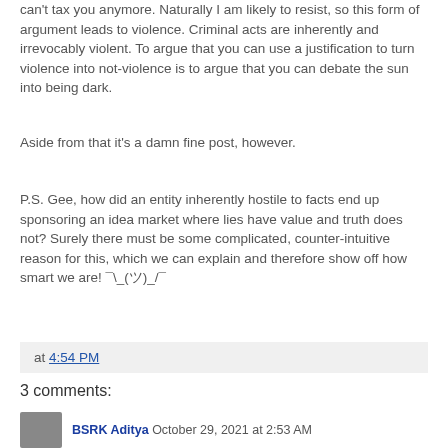can't tax you anymore. Naturally I am likely to resist, so this form of argument leads to violence. Criminal acts are inherently and irrevocably violent. To argue that you can use a justification to turn violence into not-violence is to argue that you can debate the sun into being dark.
Aside from that it's a damn fine post, however.
P.S. Gee, how did an entity inherently hostile to facts end up sponsoring an idea market where lies have value and truth does not? Surely there must be some complicated, counter-intuitive reason for this, which we can explain and therefore show off how smart we are! ¯\_(ツ)_/¯
at 4:54 PM
3 comments:
BSRK Aditya October 29, 2021 at 2:53 AM